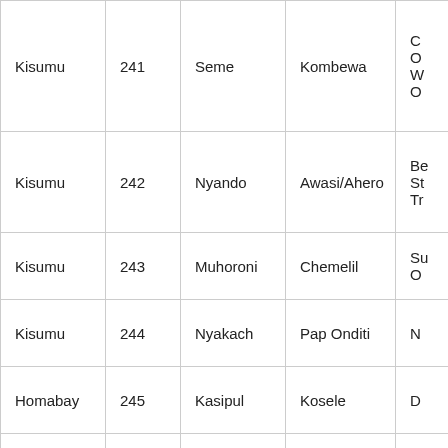| Kisumu | 241 | Seme | Kombewa | C
O
W
O… |
| Kisumu | 242 | Nyando | Awasi/Ahero | Be
St
Tr… |
| Kisumu | 243 | Muhoroni | Chemelil | Su
O… |
| Kisumu | 244 | Nyakach | Pap Onditi | N… |
| Homabay | 245 | Kasipul | Kosele | D… |
| Homabay | 246 | Kabondo Kasipul | Ramula | Ka
Ca
O
Bu
To
Se… |